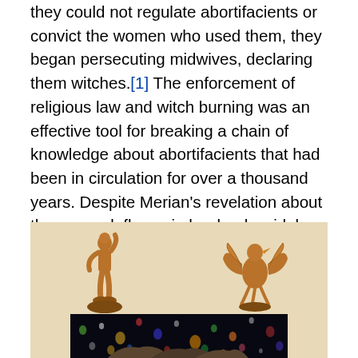they could not regulate abortifacients or convict the women who used them, they began persecuting midwives, declaring them witches.[1] The enforcement of religious law and witch burning was an effective tool for breaking a chain of knowledge about abortifacients that had been in circulation for over a thousand years. Despite Merian's revelation about the peacock flower in her book, widely used by botanists and men of medicine, this knowledge was ignored. Merchants valued the plant's looks and shipped large amounts of its seeds to their home countries, where the flower decorated many royal gardens.
[Figure (illustration): Historical illustration on a tan/beige background showing two golden figurines: on the left a standing humanoid figure, on the right a winged eagle/angel figure. Below them is a strip showing a dark starfield with colorful bokeh lights and what appears to be rocks or terrain.]